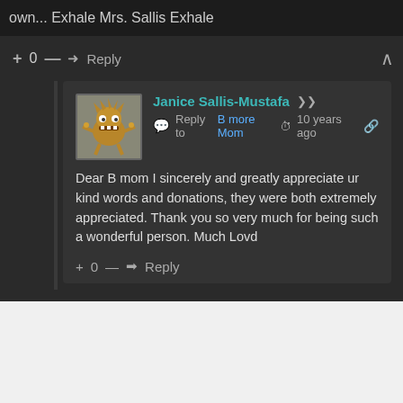own... Exhale Mrs. Sallis Exhale
+ 0 — ➜ Reply
[Figure (illustration): Small monster/creature avatar image for user Janice Sallis-Mustafa]
Janice Sallis-Mustafa
Reply to B more Mom  10 years ago
Dear B mom I sincerely and greatly appreciate ur kind words and donations, they were both extremely appreciated. Thank you so very much for being such a wonderful person. Much Lovd
+ 0 — ➜ Reply
www.thepeopleschampion.me wants to play speech
DENY
ALLOW